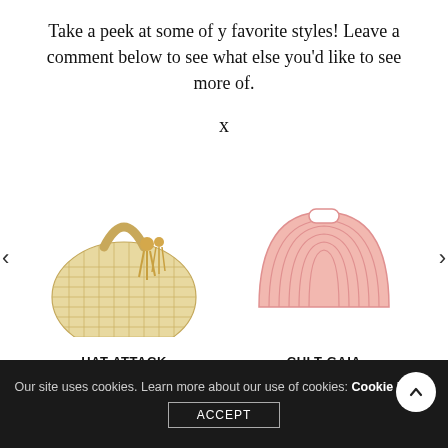Take a peek at some of y favorite styles! Leave a comment below to see what else you'd like to see more of.
x
[Figure (photo): Woven straw tote bag with tassel handle detail, natural tan color - Hat Attack brand]
[Figure (photo): Semi-circular acrylic structured handbag in blush pink - Cult Gaia brand]
HAT ATTACK
CULT GAIA
Our site uses cookies. Learn more about our use of cookies: Cookie Policy
ACCEPT